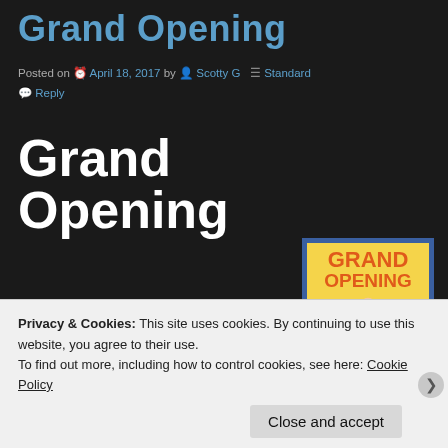Grand Opening
Posted on  April 18, 2017 by  Scotty G   Standard   Reply
Grand
Opening
Staff: Jensen Rong and Hojin Chung
[Figure (illustration): Book cover for 'Grand Opening' with orange/red title text on a yellow background, featuring a cartoon character (person in white shirt and teal pants) surrounded by office items including folders, phone, cup, tie, trash can, and a staple gun. Small text at bottom credits author and illustrator.]
Privacy & Cookies: This site uses cookies. By continuing to use this website, you agree to their use.
To find out more, including how to control cookies, see here: Cookie Policy
Close and accept